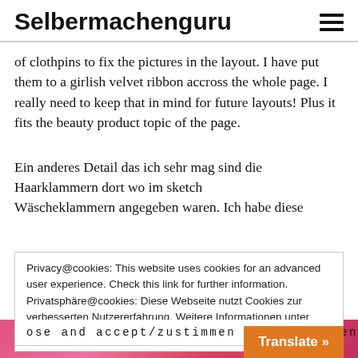Selbermachenguru
of clothpins to fix the pictures in the layout. I have put them to a girlish velvet ribbon accross the whole page. I really need to keep that in mind for future layouts! Plus it fits the beauty product topic of the page.
Ein anderes Detail das ich sehr mag sind die Haarklammern dort wo im sketch Wäscheklammern angegeben waren. Ich habe diese
Privacy@cookies: This website uses cookies for an advanced user experience. Check this link for further information. Privatsphäre@cookies: Diese Webseite nutzt Cookies zur verbesserten Nutzererfahrung. Weitere Informationen unter diesem Link. DSGVO Erklärung
ose and accept/zustimmen und schließen
[Figure (photo): Bottom strip showing pink/red product packaging with partial text visible (ACQUA, OLONIA)]